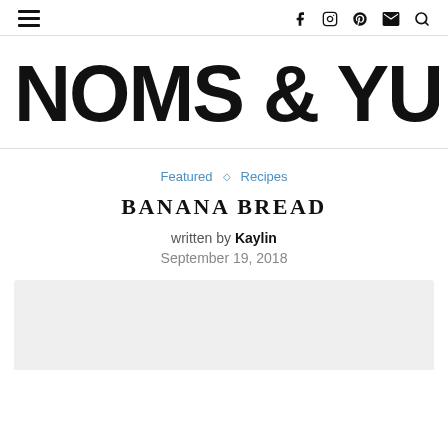Navigation header with hamburger menu and social icons (Facebook, Instagram, Pinterest, Email, Search)
NOMS & YUMS
Featured  ◇  Recipes
BANANA BREAD
written by Kaylin
September 19, 2018
[Figure (photo): Light gray placeholder image area at bottom of page]